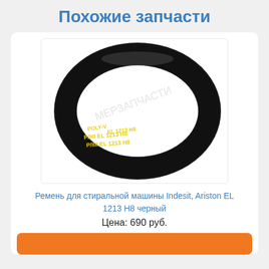Похожие запчасти
[Figure (photo): Black rubber drive belt for washing machine, labeled 'EL 1213 H8', shown as a loop/ring shape on white background.]
Ремень для стиральной машины Indesit, Ariston EL 1213 H8 черный
Цена: 690 руб.